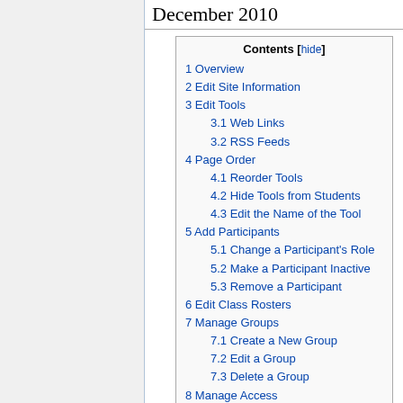December 2010
| 1 Overview |
| 2 Edit Site Information |
| 3 Edit Tools |
| 3.1 Web Links |
| 3.2 RSS Feeds |
| 4 Page Order |
| 4.1 Reorder Tools |
| 4.2 Hide Tools from Students |
| 4.3 Edit the Name of the Tool |
| 5 Add Participants |
| 5.1 Change a Participant's Role |
| 5.2 Make a Participant Inactive |
| 5.3 Remove a Participant |
| 6 Edit Class Rosters |
| 7 Manage Groups |
| 7.1 Create a New Group |
| 7.2 Edit a Group |
| 7.3 Delete a Group |
| 8 Manage Access |
| 9 Duplicate Site |